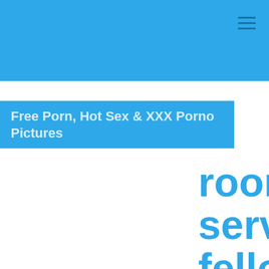Free Porn, Hot Sex & XXX Porno Pictures
room service fellow inside he